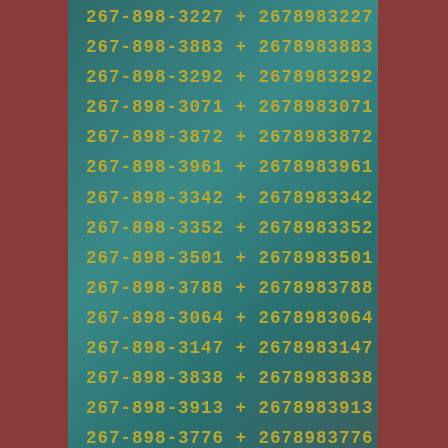267-898-3227 + 2678983227
267-898-3883 + 2678983883
267-898-3292 + 2678983292
267-898-3071 + 2678983071
267-898-3872 + 2678983872
267-898-3961 + 2678983961
267-898-3342 + 2678983342
267-898-3352 + 2678983352
267-898-3501 + 2678983501
267-898-3788 + 2678983788
267-898-3064 + 2678983064
267-898-3147 + 2678983147
267-898-3838 + 2678983838
267-898-3913 + 2678983913
267-898-3776 + 2678983776
267-898-3480 + 2678983480
267-898-3334 + 2678983334
267-898-3497 + 2678983497
267-898-3057 + 2678983057
267-898-3023 + 2678983023
267-898-3969 + 2678983969
267-898-3701 + 2678983701
267-898-3777 + 2678983777